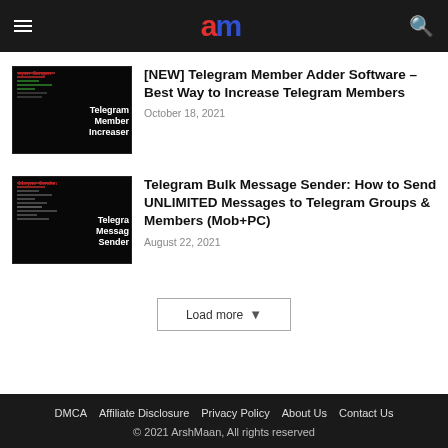am (ArshMaan logo)
[Figure (screenshot): Dark themed thumbnail showing 'Telegram Member Increaser' text on black background with red code text overlay]
[NEW] Telegram Member Adder Software – Best Way to Increase Telegram Members
October 18, 2021
[Figure (screenshot): Dark themed thumbnail showing 'Telegram Message Sender' text on black background with red code text overlay]
Telegram Bulk Message Sender: How to Send UNLIMITED Messages to Telegram Groups & Members (Mob+PC)
August 22, 2021
Load more
DMCA   Affiliate Disclosure   Privacy Policy   About Us   Contact Us
© 2021 ArshMaan, All rights reserved